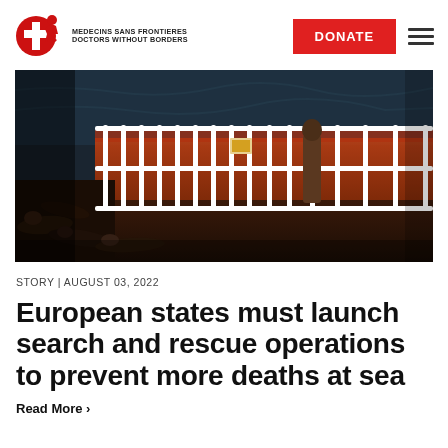MEDECINS SANS FRONTIERES DOCTORS WITHOUT BORDERS | DONATE
[Figure (photo): Night scene on a rescue ship deck with people lying down and a person standing near white railings; orange and dark tones visible through the railing.]
STORY | AUGUST 03, 2022
European states must launch search and rescue operations to prevent more deaths at sea
Read More >